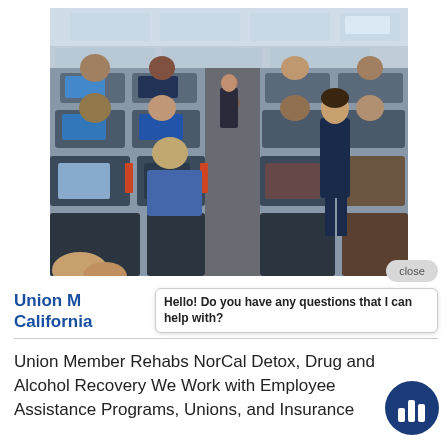[Figure (photo): Interior of a crowded airplane cabin with passengers seated, a flight attendant walking down the aisle, and seat-back screens visible.]
Union Member Rehabs NorCal Detox, Drug and Alcohol Recovery — California
Union Member Rehabs NorCal Detox, Drug and Alcohol Recovery We Work with Employee Assistance Programs, Unions, and Insurance
Hello! Do you have any questions that I can help with?